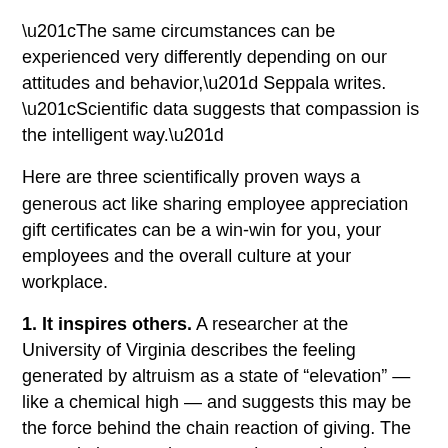“The same circumstances can be experienced very differently depending on our attitudes and behavior,” Seppala writes. “Scientific data suggests that compassion is the intelligent way.”
Here are three scientifically proven ways a generous act like sharing employee appreciation gift certificates can be a win-win for you, your employees and the overall culture at your workplace.
1. It inspires others. A researcher at the University of Virginia describes the feeling generated by altruism as a state of “elevation” — like a chemical high — and suggests this may be the force behind the chain reaction of giving. The appreciation you show coworkers and employees is likely to spark a wave of goodwill in your workplace that can affect even those who aren’t the direct recipients, such as clients or customers.